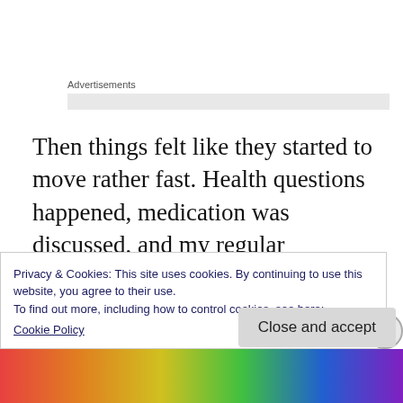Advertisements
Then things felt like they started to move rather fast. Health questions happened, medication was discussed, and my regular psychiatrist left the room and returned with a prescription! There was talk about it being something I might like to think about for a bit
Privacy & Cookies: This site uses cookies. By continuing to use this website, you agree to their use.
To find out more, including how to control cookies, see here:
Cookie Policy
Close and accept